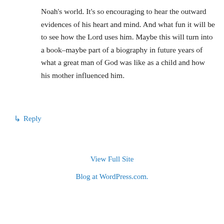Noah's world. It's so encouraging to hear the outward evidences of his heart and mind. And what fun it will be to see how the Lord uses him. Maybe this will turn into a book–maybe part of a biography in future years of what a great man of God was like as a child and how his mother influenced him.
↳ Reply
View Full Site
Blog at WordPress.com.